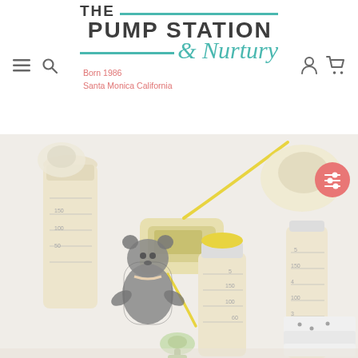[Figure (logo): The Pump Station & Nurtury logo with teal accent lines, 'Born 1986 Santa Monica California' tagline in coral/pink text]
[Figure (photo): Product photo showing Medela breast pump with bottles, a small stuffed bear toy, a pacifier, and folded cloth items on a white background]